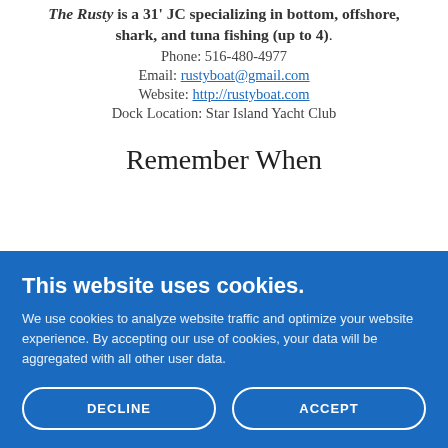The Rusty is a 31' JC specializing in bottom, offshore, shark, and tuna fishing (up to 4). Phone: 516-480-4977 Email: rustyboat@gmail.com Website: http://rustyboat.com Dock Location: Star Island Yacht Club
Remember When
This website uses cookies.
We use cookies to analyze website traffic and optimize your website experience. By accepting our use of cookies, your data will be aggregated with all other user data.